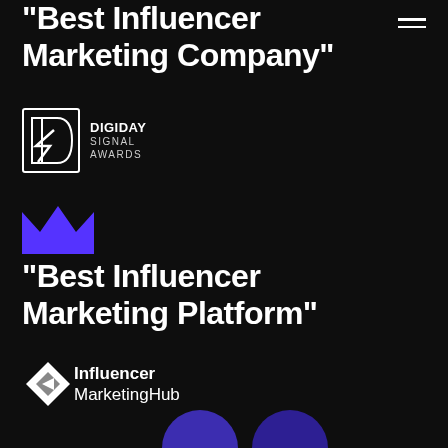“Best Influencer Marketing Company”
[Figure (logo): Digiday Signal Awards logo with lightning bolt D icon and text DIGIDAY SIGNAL AWARDS]
[Figure (illustration): Purple crown icon]
“Best Influencer Marketing Platform”
[Figure (logo): Influencer MarketingHub logo with white diamond arrow icon and text Influencer MarketingHub]